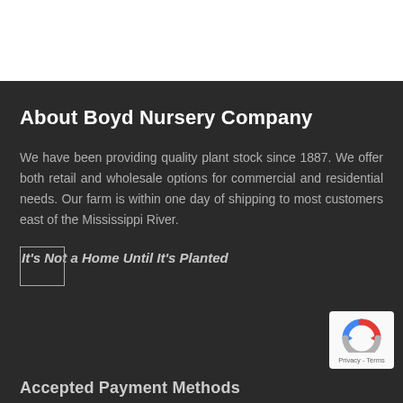About Boyd Nursery Company
We have been providing quality plant stock since 1887. We offer both retail and wholesale options for commercial and residential needs. Our farm is within one day of shipping to most customers east of the Mississippi River.
It's Not a Home Until It's Planted
Accepted Payment Methods